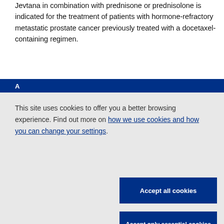Jevtana in combination with prednisone or prednisolone is indicated for the treatment of patients with hormone-refractory metastatic prostate cancer previously treated with a docetaxel-containing regimen.
This site uses cookies to offer you a better browsing experience. Find out more on how we use cookies and how you can change your settings.
Accept all cookies
Accept only essential cookies